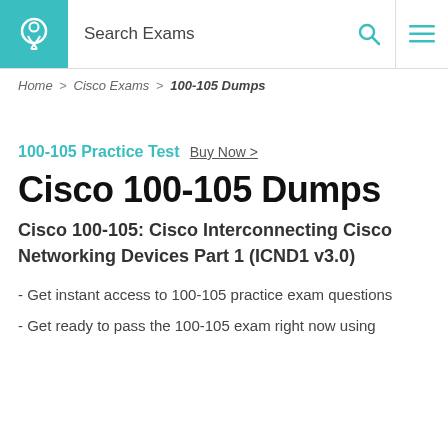Search Exams
Home > Cisco Exams > 100-105 Dumps
100-105 Practice Test Buy Now >
Cisco 100-105 Dumps
Cisco 100-105: Cisco Interconnecting Cisco Networking Devices Part 1 (ICND1 v3.0)
- Get instant access to 100-105 practice exam questions
- Get ready to pass the 100-105 exam right now using